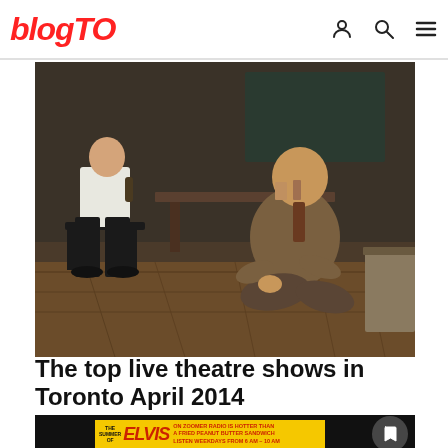blogTO
[Figure (photo): Theatre scene with two actors on stage, one seated on a chair in a white shirt and dark pants holding a bottle, another seated on the floor in a brown jacket and tie in a moody stage set]
The top live theatre shows in Toronto April 2014
[Figure (photo): Dark background image with bookmark icon overlay and Elvis advertisement banner reading: THE SUMMER OF ELVIS ON ZOOMER RADIO IS HOTTER THAN A FRIED PEANUT BUTTER SANDWICH LISTEN WEEKDAYS FROM 6 AM - 10 AM]